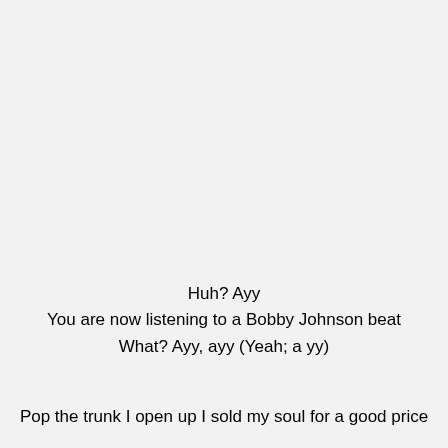Huh? Ayy
You are now listening to a Bobby Johnson beat
What? Ayy, ayy (Yeah; a yy)
Pop the trunk I open up I sold my soul for a good price